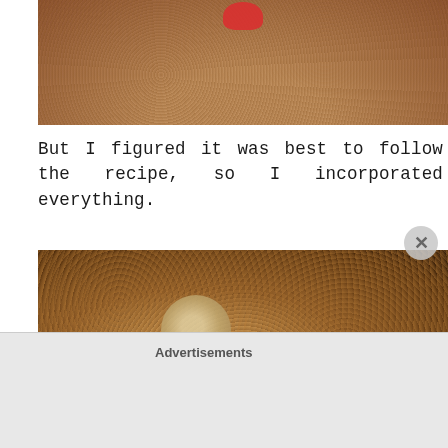[Figure (photo): Close-up photo of brown sugar or spice mixture in a bowl with a red object (lid or cap) visible at top center]
But I figured it was best to follow the recipe, so I incorporated everything.
[Figure (photo): Close-up photo of mixed dry ingredients (brown sugar, spices, crumbles) in a dark bowl with a spoon or measuring cup visible]
Advertisements